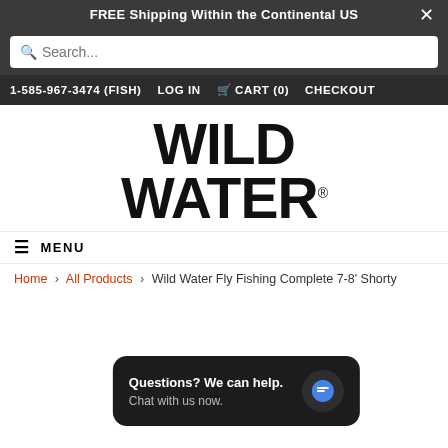FREE Shipping Within the Continental US
[Figure (screenshot): Search bar input field with magnifying glass icon]
1-585-967-3474 (FISH)   LOG IN   CART (0)   CHECKOUT
[Figure (logo): Wild Water registered trademark logo in large bold black text]
MENU
Home > All Products > Wild Water Fly Fishing Complete 7-8' Shorty
[Figure (infographic): Chat widget popup: Questions? We can help. Chat with us now. with blue chat bubble icon]